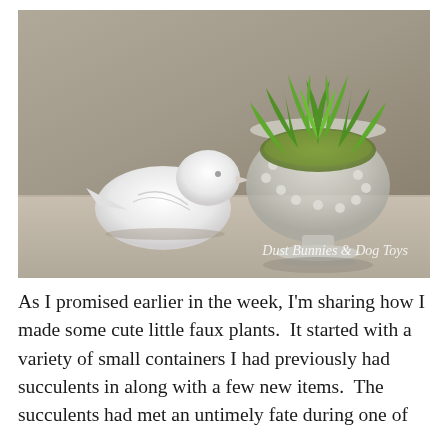[Figure (photo): A white ceramic bird figurine sits on a table next to a glass pedestal bowl filled with green succulent-like faux plants and moss. The background is a warm taupe/grey. A watermark in cursive script reads 'Dust Bunnies & Dog Toys' in the lower right of the photo.]
As I promised earlier in the week, I'm sharing how I made some cute little faux plants.  It started with a variety of small containers I had previously had succulents in along with a few new items.  The succulents had met an untimely fate during one of